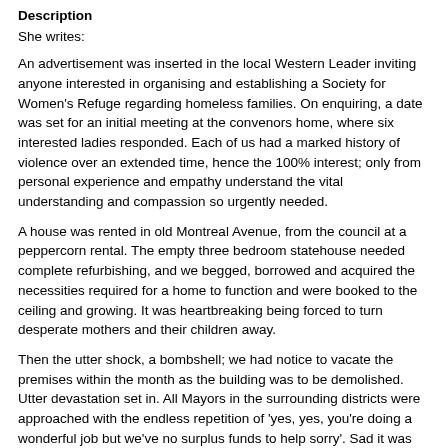Description
She writes:
An advertisement was inserted in the local Western Leader inviting anyone interested in organising and establishing a Society for Women's Refuge regarding homeless families. On enquiring, a date was set for an initial meeting at the convenors home, where six interested ladies responded. Each of us had a marked history of violence over an extended time, hence the 100% interest; only from personal experience and empathy understand the vital understanding and compassion so urgently needed.
A house was rented in old Montreal Avenue, from the council at a peppercorn rental. The empty three bedroom statehouse needed complete refurbishing, and we begged, borrowed and acquired the necessities required for a home to function and were booked to the ceiling and growing. It was heartbreaking being forced to turn desperate mothers and their children away.
Then the utter shock, a bombshell; we had notice to vacate the premises within the month as the building was to be demolished. Utter devastation set in. All Mayors in the surrounding districts were approached with the endless repetition of 'yes, yes, you're doing a wonderful job but we've no surplus funds to help sorry'. Sad it was when six desperate volunteers sat around the table in our convenors kitchen agonising what the next step was to be. On